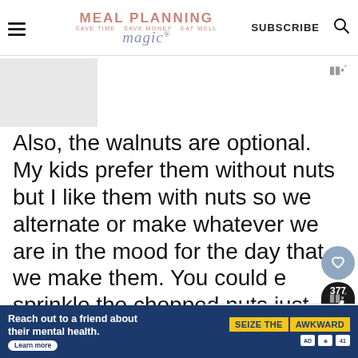MEAL PLANNING magic® — SUBSCRIBE
[Figure (photo): Partially visible food/recipe photo in top left content area]
Also, the walnuts are optional. My kids prefer them without nuts but I like them with nuts so we alternate or make whatever we are in the mood for the day that we make them. You could sprinkle the chopped nuts just on one half so that everyone can
[Figure (infographic): What's Next callout with Cinnamon Chocolate... text and food thumbnail]
Reach out to a friend about their mental health. Learn more — SEIZE THE AWKWARD